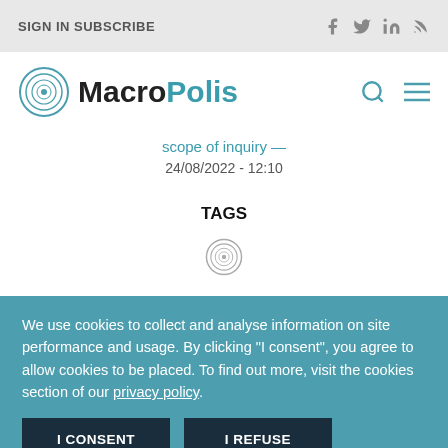SIGN IN  SUBSCRIBE
[Figure (logo): MacroPolis logo with circular emblem and text MacroPolis]
scope of inquiry —
24/08/2022 - 12:10
TAGS
[Figure (logo): Small circular MacroPolis emblem/icon]
We use cookies to collect and analyse information on site performance and usage. By clicking "I consent", you agree to allow cookies to be placed. To find out more, visit the cookies section of our privacy policy.
I CONSENT  I REFUSE